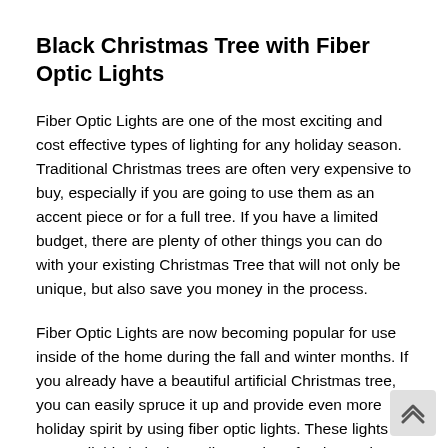Black Christmas Tree with Fiber Optic Lights
Fiber Optic Lights are one of the most exciting and cost effective types of lighting for any holiday season. Traditional Christmas trees are often very expensive to buy, especially if you are going to use them as an accent piece or for a full tree. If you have a limited budget, there are plenty of other things you can do with your existing Christmas Tree that will not only be unique, but also save you money in the process.
Fiber Optic Lights are now becoming popular for use inside of the home during the fall and winter months. If you already have a beautiful artificial Christmas tree, you can easily spruce it up and provide even more holiday spirit by using fiber optic lights. These lights are available in both smaller versions for decorating small tables and cabinets or larger models